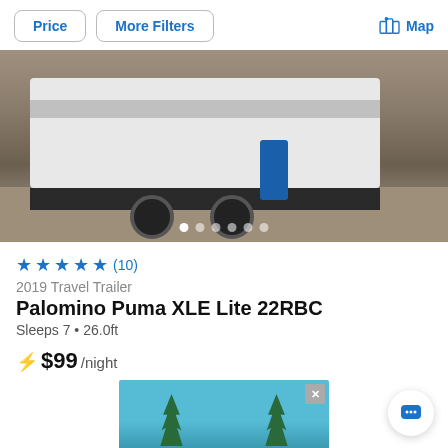Price  More Filters  Map
[Figure (photo): RV travel trailer parked at a campsite with a blue folding chair, gravel ground, and campsite equipment visible. Carousel with 6 navigation dots shown at bottom.]
★★★★★ (10)
2019 Travel Trailer
Palomino Puma XLE Lite 22RBC
Sleeps 7 • 26.0ft
⚡ $99 /night
[Figure (photo): Partial advertisement banner showing palm trees against a blue sky background with a close (X) button in the corner.]